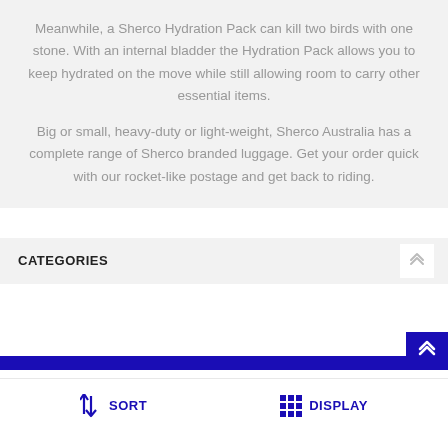Meanwhile, a Sherco Hydration Pack can kill two birds with one stone. With an internal bladder the Hydration Pack allows you to keep hydrated on the move while still allowing room to carry other essential items.
Big or small, heavy-duty or light-weight, Sherco Australia has a complete range of Sherco branded luggage. Get your order quick with our rocket-like postage and get back to riding.
CATEGORIES